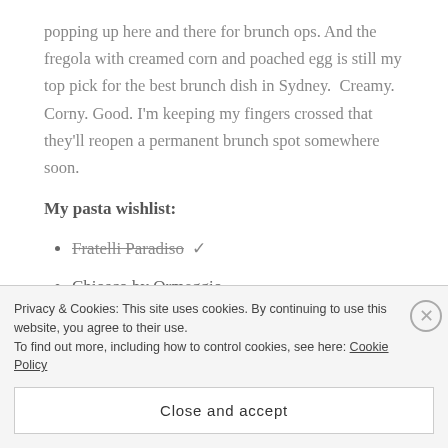popping up here and there for brunch ops. And the fregola with creamed corn and poached egg is still my top pick for the best brunch dish in Sydney.  Creamy. Corny. Good. I'm keeping my fingers crossed that they'll reopen a permanent brunch spot somewhere soon.
My pasta wishlist:
Fratelli Paradiso ✓ (strikethrough)
Chiosco by Ormeggio
Lucio's
Privacy & Cookies: This site uses cookies. By continuing to use this website, you agree to their use.
To find out more, including how to control cookies, see here: Cookie Policy
Close and accept